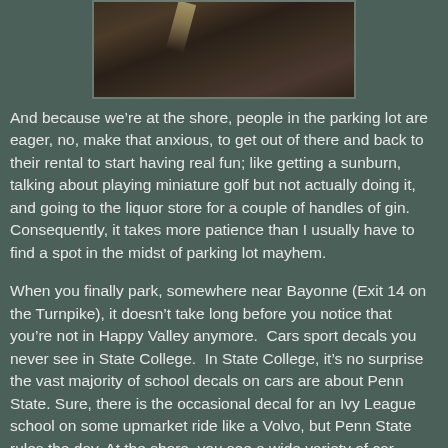[Figure (photo): A close-up photo of dark mulch or soil, with what appears to be a light-colored feather or stick visible.]
And because we’re at the shore, people in the parking lot are eager, no, make that anxious, to get out of there and back to their rental to start having real fun; like getting a sunburn, talking about playing miniature golf but not actually doing it, and going to the liquor store for a couple of handles of gin. Consequently, it takes more patience than I usually have to find a spot in the midst of parking lot mayhem.
When you finally park, somewhere near Bayonne (Exit 14 on the Turnpike), it doesn’t take long before you notice that you’re not in Happy Valley anymore.  Cars sport decals you never see in State College.  In State College, it’s no surprise the vast majority of school decals on cars are about Penn State. Sure, there is the occasional decal for an Ivy League school on some upmarket ride like a Volvo, but Penn State rules the day. At the shore, you see a wide variety of car decals such as: Barbizon School of Modeling, North Carolina Institute of Taxidermy, and, of course, St. Fill-in-the-Blank Prep.  There’s also the occasional bumper sticker that says